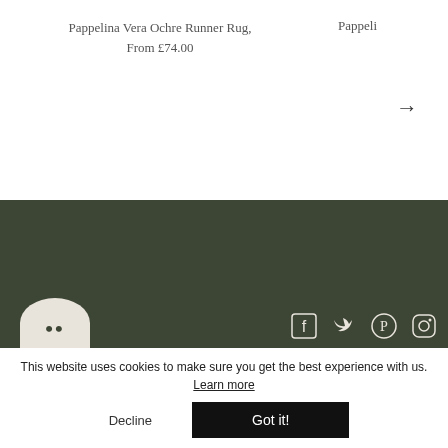Pappelina Vera Ochre Runner Rug, From £74.00
Pappeli
[Figure (other): Right arrow navigation icon]
[Figure (other): Dark olive green footer section with circular logo and social media icons (Facebook, Twitter, Pinterest, Instagram)]
This website uses cookies to make sure you get the best experience with us. Learn more
Decline
Got it!